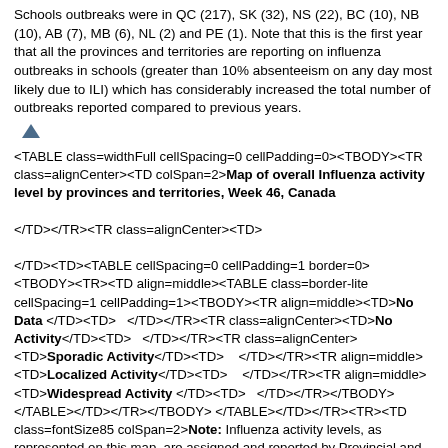Schools outbreaks were in QC (217), SK (32), NS (22), BC (10), NB (10), AB (7), MB (6), NL (2) and PE (1). Note that this is the first year that all the provinces and territories are reporting on influenza outbreaks in schools (greater than 10% absenteeism on any day most likely due to ILI) which has considerably increased the total number of outbreaks reported compared to previous years.
<TABLE class=widthFull cellSpacing=0 cellPadding=0><TBODY><TR class=alignCenter><TD colSpan=2>Map of overall Influenza activity level by provinces and territories, Week 46, Canada

</TD></TR><TR class=alignCenter><TD>

</TD><TD><TABLE cellSpacing=0 cellPadding=1 border=0><TBODY><TR><TD align=middle><TABLE class=border-lite cellSpacing=1 cellPadding=1><TBODY><TR align=middle><TD>No Data </TD><TD>   </TD></TR><TR class=alignCenter><TD>No Activity</TD><TD>   </TD></TR><TR class=alignCenter><TD>Sporadic Activity</TD><TD>   </TD></TR><TR align=middle><TD>Localized Activity</TD><TD>   </TD></TR><TR align=middle><TD>Widespread Activity
</TD><TD>   </TD></TR></TBODY></TABLE></TD></TR></TBODY></TABLE></TD></TR><TR><TD class=fontSize85 colSpan=2>Note: Influenza activity levels, as represented on this map, are assigned and reported by Provincial and Territorial Ministries of Health, based on laboratory confirmations, sentinel ILI rates (see graphs and tables) and reported outbreaks. Please refer to detailed definitions on the last